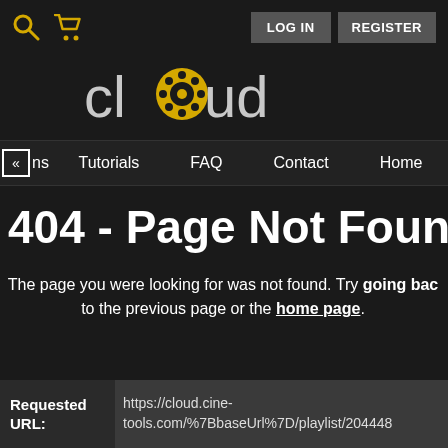LOG IN  REGISTER
[Figure (logo): Cloud logo with film reel icon replacing the letter 'o']
« ns  Tutorials  FAQ  Contact  Home
404 - Page Not Found
The page you were looking for was not found. Try going back to the previous page or the home page.
Requested URL:  https://cloud.cine-tools.com/%7BbaseUrl%7D/playlist/20444...